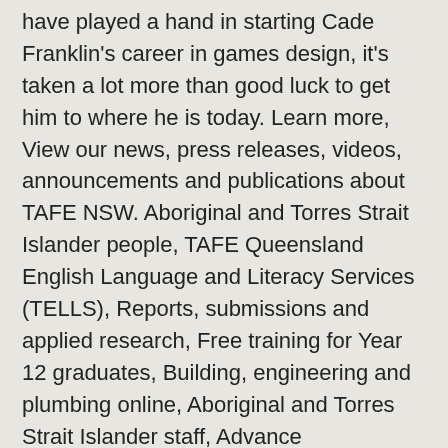have played a hand in starting Cade Franklin's career in games design, it's taken a lot more than good luck to get him to where he is today. Learn more, View our news, press releases, videos, announcements and publications about TAFE NSW. Aboriginal and Torres Strait Islander people, TAFE Queensland English Language and Literacy Services (TELLS), Reports, submissions and applied research, Free training for Year 12 graduates, Building, engineering and plumbing online, Aboriginal and Torres Strait Islander staff, Advance Queensland - One Business program, Rheinmetall partnership set to attract skilled workers, Aboriginal and Torres Strait Islander People. We acknowledge and pay our respects to the Elders, past, present, and emerging, of all nations. TAFE NSW at high school (TVET) Online courses; Apprenticeships and traineeships; Certificates; Diplomas; Degrees; Micro-credentials; Subsidised Courses; TAFE NSW Degrees; Pathways; 40+ Degree partners and short courses